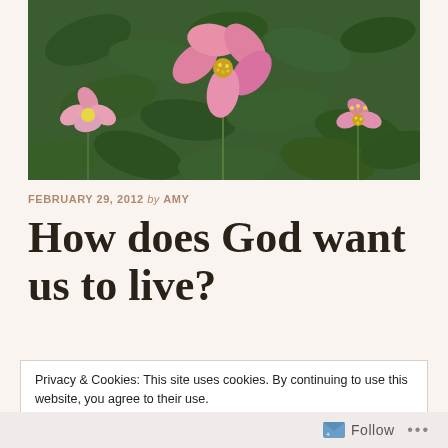[Figure (photo): Close-up photograph of pink wild rose flowers with yellow stamens among dark green leaves on a shrub]
FEBRUARY 29, 2012 by AMY
How does God want us to live?
Privacy & Cookies: This site uses cookies. By continuing to use this website, you agree to their use.
To find out more, including how to control cookies, see here: Cookie Policy
Close and accept
Follow